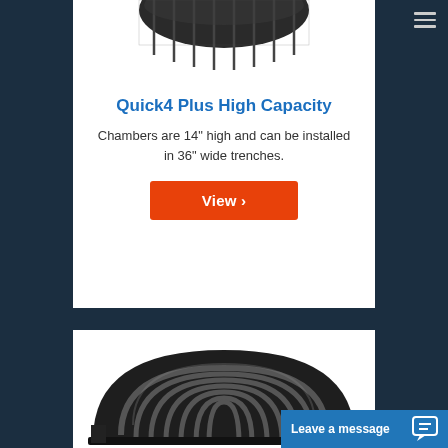[Figure (photo): Partial view of Quick4 Plus High Capacity chamber product at top of page]
Quick4 Plus High Capacity
Chambers are 14" high and can be installed in 36" wide trenches.
View ›
[Figure (photo): Quick4 chamber product - black corrugated arch-shaped drainage chamber]
Leave a message